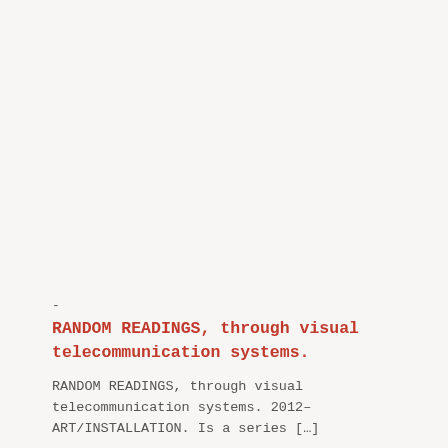RANDOM READINGS, through visual telecommunication systems.
RANDOM READINGS, through visual telecommunication systems. 2012– ART/INSTALLATION. Is a series […]